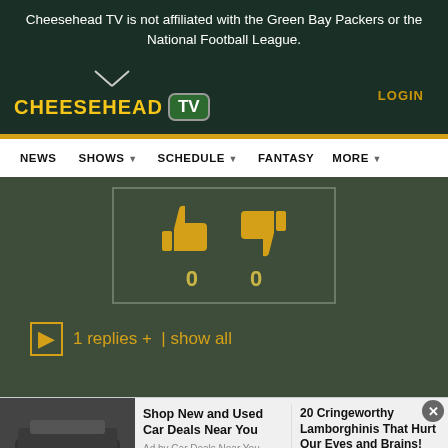Cheesehead TV is not affiliated with the Green Bay Packers or the National Football League.
[Figure (logo): Cheesehead TV logo with gold text and green TV icon, LOGIN button top right]
[Figure (infographic): Navigation bar with NEWS, SHOWS, SCHEDULE, FANTASY, MORE items]
[Figure (infographic): Vote box with thumbs up and thumbs down icons, both showing count of 0, on dark green background]
1 replies +  | show all
[Figure (infographic): Advertisement bar: Car image with 'Shop New and Used Car Deals Near You' by Car Deals Near You; '20 Cringeworthy Lamborghinis That Hurt Our Eyes and Brains!' by PityNews]